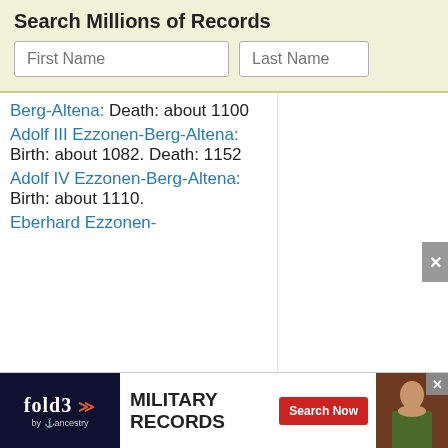Search Millions of Records
First Name | Last Name (search inputs)
Berg-Altena: Death: about 1100
Adolf III Ezzonen-Berg-Altena: Birth: about 1082. Death: 1152
Adolf IV Ezzonen-Berg-Altena: Birth: about 1110.
Eberhard Ezzonen-
[Figure (screenshot): Fold3 by Ancestry advertisement banner: Military Records, Search Now button, photo of soldier]